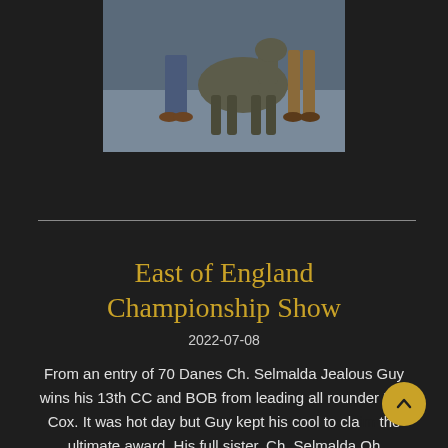[Figure (photo): Two people standing with a large grey brindle Great Dane dog at a dog show, photographed from waist down showing jeans, brown shoes, and the dog's legs and body.]
East of England Championship Show
2022-07-08
From an entry of 70 Danes Ch. Selmalda Jealous Guy wins his 13th CC and BOB from leading all rounder Lee Cox. It was hot day but Guy kept his cool to claim the ultimate award. His full sister, Ch. Selmalda Oh